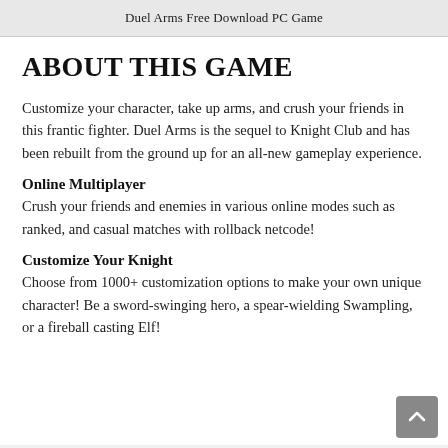Duel Arms Free Download PC Game
ABOUT THIS GAME
Customize your character, take up arms, and crush your friends in this frantic fighter. Duel Arms is the sequel to Knight Club and has been rebuilt from the ground up for an all-new gameplay experience.
Online Multiplayer
Crush your friends and enemies in various online modes such as ranked, and casual matches with rollback netcode!
Customize Your Knight
Choose from 1000+ customization options to make your own unique character! Be a sword-swinging hero, a spear-wielding Swampling, or a fireball casting Elf!